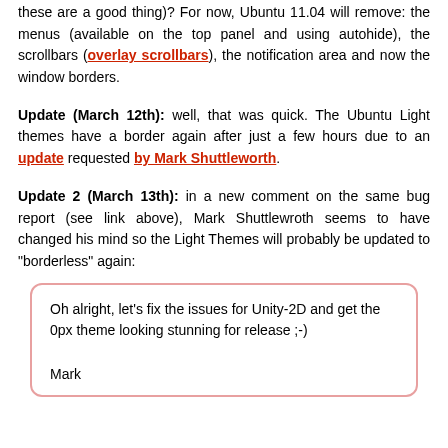these are a good thing)? For now, Ubuntu 11.04 will remove: the menus (available on the top panel and using autohide), the scrollbars (overlay scrollbars), the notification area and now the window borders.
Update (March 12th): well, that was quick. The Ubuntu Light themes have a border again after just a few hours due to an update requested by Mark Shuttleworth.
Update 2 (March 13th): in a new comment on the same bug report (see link above), Mark Shuttlewroth seems to have changed his mind so the Light Themes will probably be updated to "borderless" again:
Oh alright, let's fix the issues for Unity-2D and get the 0px theme looking stunning for release ;-)

Mark